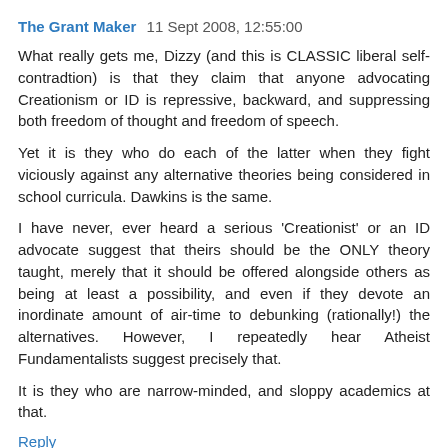The Grant Maker  11 Sept 2008, 12:55:00
What really gets me, Dizzy (and this is CLASSIC liberal self-contradtion) is that they claim that anyone advocating Creationism or ID is repressive, backward, and suppressing both freedom of thought and freedom of speech.
Yet it is they who do each of the latter when they fight viciously against any alternative theories being considered in school curricula. Dawkins is the same.
I have never, ever heard a serious 'Creationist' or an ID advocate suggest that theirs should be the ONLY theory taught, merely that it should be offered alongside others as being at least a possibility, and even if they devote an inordinate amount of air-time to debunking (rationally!) the alternatives. However, I repeatedly hear Atheist Fundamentalists suggest precisely that.
It is they who are narrow-minded, and sloppy academics at that.
Reply